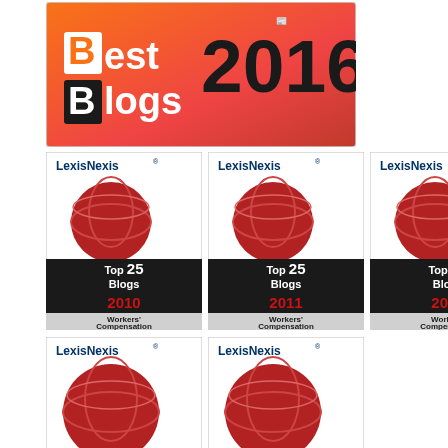[Figure (logo): Best Blogs 2016 award badge with orange/red gradient background]
[Figure (logo): LexisNexis Top 25 Blogs Workers Compensation 2010 badge]
[Figure (logo): LexisNexis Top 25 Blogs Workers Compensation 2011 badge]
[Figure (logo): LexisNexis Top 25 Blogs Workers Compensation 2012 badge]
[Figure (logo): LexisNexis Top Blogs Workers Compensation 2013 badge]
[Figure (logo): LexisNexis Top Blogs Workers Compensation 2014 badge]
[Figure (logo): WorkersCompInsider wins Blog of the Year - LexisNexis Top Blog of the Year 2009 Workers Compensation banner]